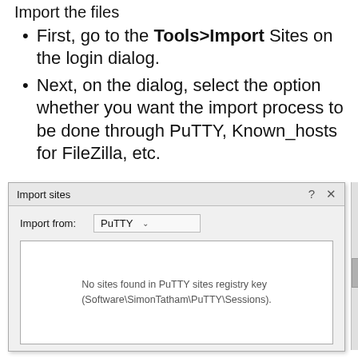Import the files
First, go to the Tools>Import Sites on the login dialog.
Next, on the dialog, select the option whether you want the import process to be done through PuTTY, Known_hosts for FileZilla, etc.
[Figure (screenshot): A Windows dialog box titled 'Import sites' with a dropdown set to 'PuTTY' and a content area showing the message 'No sites found in PuTTY sites registry key (Software\SimonTatham\PuTTY\Sessions).']